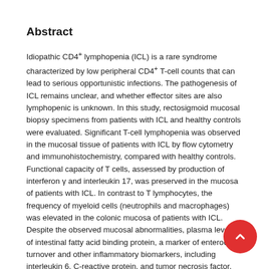Abstract
Idiopathic CD4+ lymphopenia (ICL) is a rare syndrome characterized by low peripheral CD4+ T-cell counts that can lead to serious opportunistic infections. The pathogenesis of ICL remains unclear, and whether effector sites are also lymphopenic is unknown. In this study, rectosigmoid mucosal biopsy specimens from patients with ICL and healthy controls were evaluated. Significant T-cell lymphopenia was observed in the mucosal tissue of patients with ICL by flow cytometry and immunohistochemistry, compared with healthy controls. Functional capacity of T cells, assessed by production of interferon γ and interleukin 17, was preserved in the mucosa of patients with ICL. In contrast to T lymphocytes, the frequency of myeloid cells (neutrophils and macrophages) was elevated in the colonic mucosa of patients with ICL. Despite the observed mucosal abnormalities, plasma levels of intestinal fatty acid binding protein, a marker of enterocyte turnover and other inflammatory biomarkers, including interleukin 6, C-reactive protein, and tumor necrosis factor, were not elevated in patients